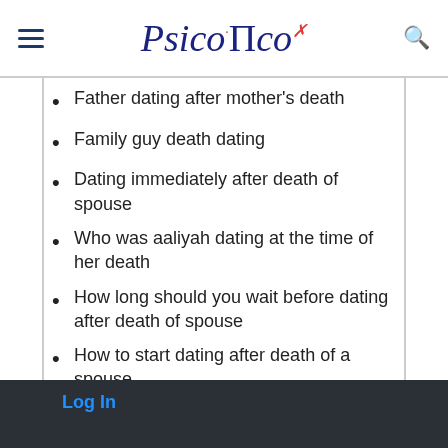PsicoПco
Father dating after mother's death
Family guy death dating
Dating immediately after death of spouse
Who was aaliyah dating at the time of her death
How long should you wait before dating after death of spouse
How to start dating after death of a spouse
Log In